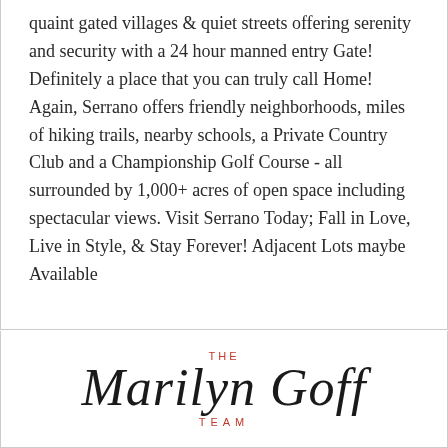quaint gated villages & quiet streets offering serenity and security with a 24 hour manned entry Gate! Definitely a place that you can truly call Home! Again, Serrano offers friendly neighborhoods, miles of hiking trails, nearby schools, a Private Country Club and a Championship Golf Course - all surrounded by 1,000+ acres of open space including spectacular views. Visit Serrano Today; Fall in Love, Live in Style, & Stay Forever! Adjacent Lots maybe Available
[Figure (logo): The Marilyn Goff Team logo in cursive script with 'THE' in small red uppercase letters above and 'TEAM' in small red uppercase letters below the main cursive text.]